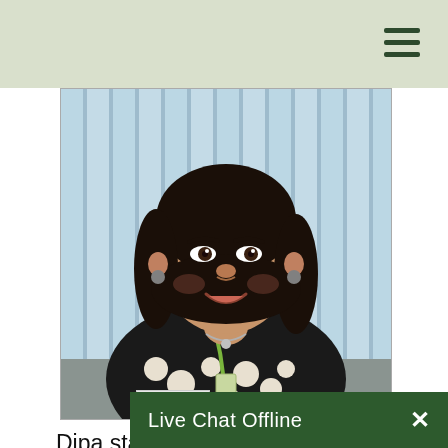[Figure (photo): Portrait photo of a woman named Dipa, smiling, with dark hair, wearing a black and white floral top and a green lanyard, against a backdrop of venetian blinds in an office setting.]
Dipa started her career in adult education... she joined Croydon Adult Learning and Training's ESOL department, as the
Live Chat Offline